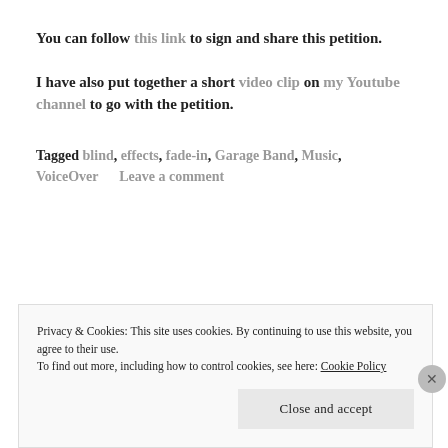You can follow this link to sign and share this petition.
I have also put together a short video clip on my Youtube channel to go with the petition.
Tagged blind, effects, fade-in, Garage Band, Music, VoiceOver      Leave a comment
Privacy & Cookies: This site uses cookies. By continuing to use this website, you agree to their use.
To find out more, including how to control cookies, see here: Cookie Policy